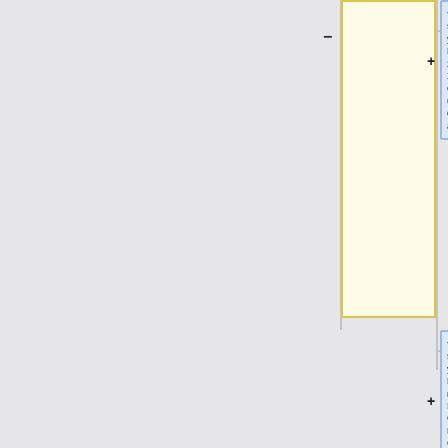[Figure (flowchart): Partial diff/tree view showing a yellow highlighted node with <br/> code label (minus sign indicating collapse), and two blue-highlighted nodes on the right side. Top blue node shows: * <span style="color:grey">eth1/eno1, Ethernet 10G 2P X520 Adapter, driver: ixgbe - unavailable for experiment</span><br />. Second blue node shows: * <span style="color:grey">eth2/eno1, Ethernet, model: Intel I350 Gigabit Network Connection, driver: igb - unavailable for experiment</span><br />. Third blue node (partial) shows: * <span style="color:grey">eth3/eno2, Ethernet,</span>]